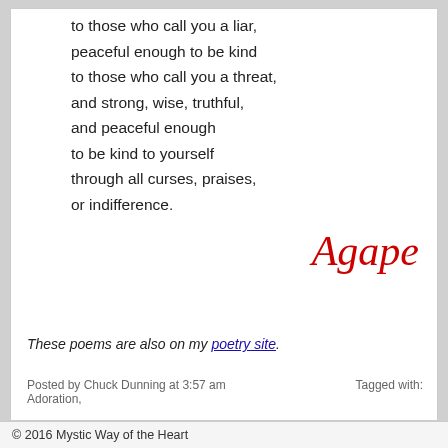to those who call you a liar,
peaceful enough to be kind
to those who call you a threat,
and strong, wise, truthful,
and peaceful enough
to be kind to yourself
through all curses, praises,
or indifference.
Agape
These poems are also on my poetry site.
Posted by Chuck Dunning at 3:57 am   Tagged with: Adoration,
© 2016 Mystic Way of the Heart